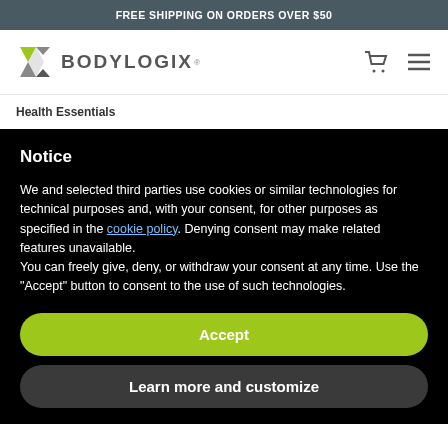FREE SHIPPING ON ORDERS OVER $50
[Figure (logo): Bodylogix logo with green/grey diamond shape and BODYLOGIX text]
Health Essentials
Notice
We and selected third parties use cookies or similar technologies for technical purposes and, with your consent, for other purposes as specified in the cookie policy. Denying consent may make related features unavailable.
You can freely give, deny, or withdraw your consent at any time. Use the "Accept" button to consent to the use of such technologies.
Accept
Learn more and customize